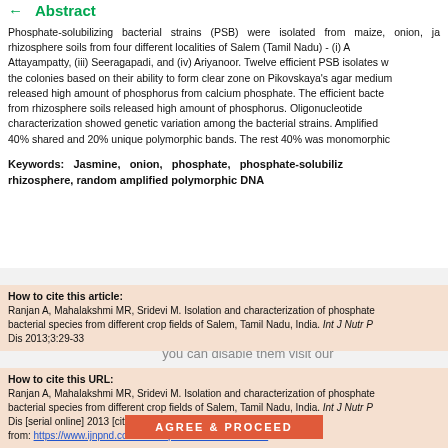Abstract
Phosphate-solubilizing bacterial strains (PSB) were isolated from maize, onion, jasmine rhizosphere soils from four different localities of Salem (Tamil Nadu) - (i) A... Attayampatty, (iii) Seeragapadi, and (iv) Ariyanoor. Twelve efficient PSB isolates w... the colonies based on their ability to form clear zone on Pikovskaya's agar medium released high amount of phosphorus from calcium phosphate. The efficient bacte... from rhizosphere soils released high amount of phosphorus. Oligonucleotide characterization showed genetic variation among the bacterial strains. Amplified ... 40% shared and 20% unique polymorphic bands. The rest 40% was monomorphic
Keywords: Jasmine, onion, phosphate, phosphate-solubilizing bacteria, rhizosphere, random amplified polymorphic DNA
How to cite this article:
Ranjan A, Mahalakshmi MR, Sridevi M. Isolation and characterization of phosphate bacterial species from different crop fields of Salem, Tamil Nadu, India. Int J Nutr P Dis 2013;3:29-33
How to cite this URL:
Ranjan A, Mahalakshmi MR, Sridevi M. Isolation and characterization of phosphate bacterial species from different crop fields of Salem, Tamil Nadu, India. Int J Nutr P Dis [serial online] 2013 [cited 2022 Aug 23];3:29-33. Available from: https://www.ijnpnd.com/text.asp?2013/3/1/29/106982